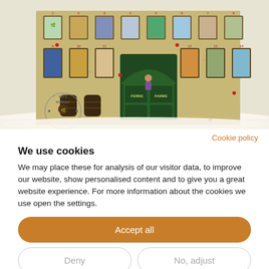[Figure (photo): Advent calendar illustration showing a tan/beige building facade with multiple numbered windows containing whisky-related illustrations. Green arched doors visible in the center. Snow on the ground. A 'Fat's Whisky' circular stamp/logo in the lower left corner.]
Cookie policy
We use cookies
We may place these for analysis of our visitor data, to improve our website, show personalised content and to give you a great website experience. For more information about the cookies we use open the settings.
Accept all
Deny
No, adjust